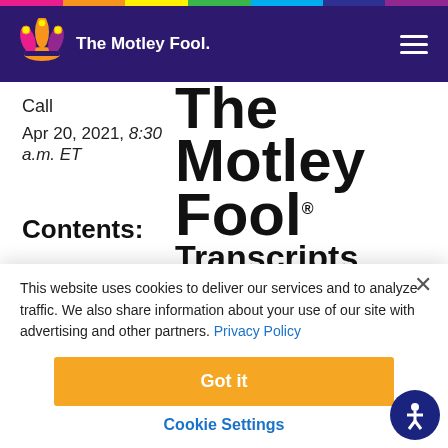The Motley Fool
Call
Apr 20, 2021, 8:30 a.m. ET
[Figure (logo): The Motley Fool Transcripts large logo text]
Contents:
This website uses cookies to deliver our services and to analyze traffic. We also share information about your use of our site with advertising and other partners. Privacy Policy
Got it
Cookie Settings